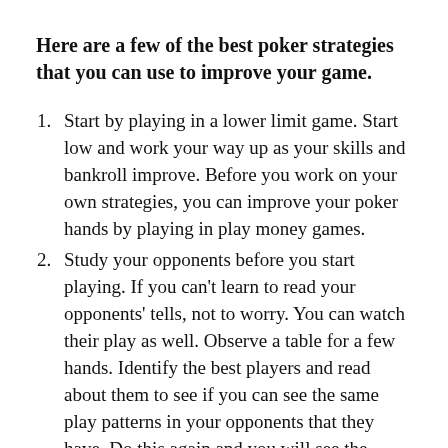Here are a few of the best poker strategies that you can use to improve your game.
Start by playing in a lower limit game. Start low and work your way up as your skills and bankroll improve. Before you work on your own strategies, you can improve your poker hands by playing in play money games.
Study your opponents before you start playing. If you can't learn to read your opponents' tells, not to worry. You can watch their play as well. Observe a table for a few hands. Identify the best players and read about them to see if you can see the same play patterns in your opponents that they have. Do this again and you will see the